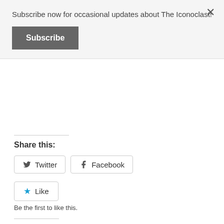Subscribe now for occasional updates about The Iconoclast!
Subscribe
Share this:
Twitter
Facebook
Like
Be the first to like this.
Related
Gates rules out renegotiation
October 22, 2009
In "Observing Japan Blog"
Why did Hatoyama go after Futenma first?
May 15, 2010
In "Observing Japan Blog"